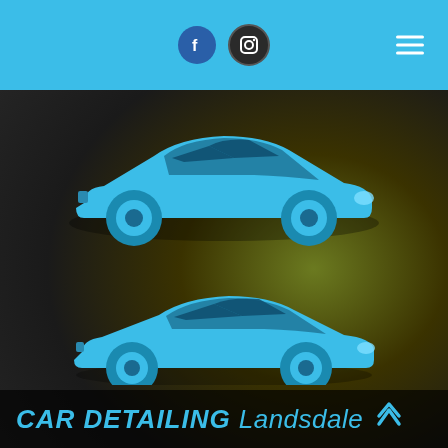Social media icons (Facebook, Instagram) and hamburger menu
[Figure (illustration): Blue car icon (hatchback/sedan) silhouette on dark blurred background]
[Figure (illustration): Blue car icon (sedan) silhouette on dark blurred background]
CAR DETAILING Landsdale